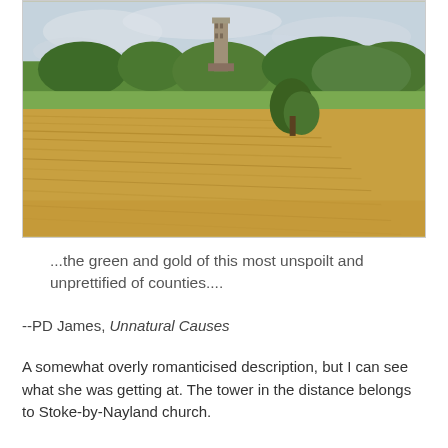[Figure (photo): Landscape photograph showing golden harvested wheat fields in the foreground with green trees and a church tower visible in the background under a cloudy sky. The scene depicts the English countryside around Stoke-by-Nayland.]
...the green and gold of this most unspoilt and unprettified of counties....
--PD James, Unnatural Causes
A somewhat overly romanticised description, but I can see what she was getting at. The tower in the distance belongs to Stoke-by-Nayland church.